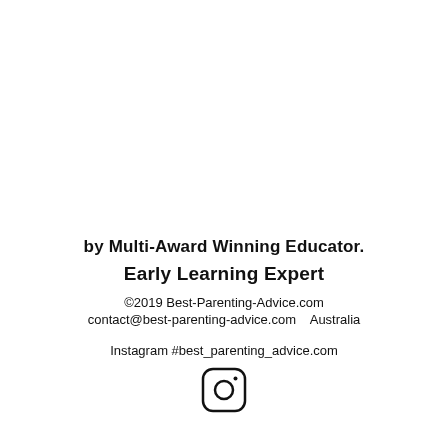by Multi-Award Winning Educator.
Early Learning Expert
©2019 Best-Parenting-Advice.com
contact@best-parenting-advice.com   Australia
Instagram #best_parenting_advice.com
[Figure (logo): Instagram logo icon — rounded square with camera outline]